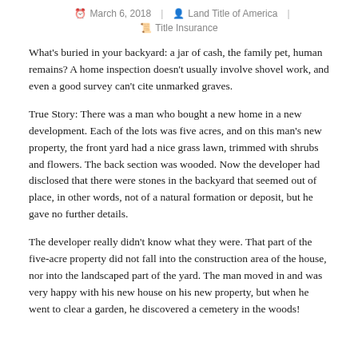March 6, 2018 | Land Title of America | Title Insurance
What's buried in your backyard: a jar of cash, the family pet, human remains? A home inspection doesn't usually involve shovel work, and even a good survey can't cite unmarked graves.
True Story: There was a man who bought a new home in a new development. Each of the lots was five acres, and on this man's new property, the front yard had a nice grass lawn, trimmed with shrubs and flowers. The back section was wooded. Now the developer had disclosed that there were stones in the backyard that seemed out of place, in other words, not of a natural formation or deposit, but he gave no further details.
The developer really didn't know what they were. That part of the five-acre property did not fall into the construction area of the house, nor into the landscaped part of the yard. The man moved in and was very happy with his new house on his new property, but when he went to clear a garden, he discovered a cemetery in the woods!